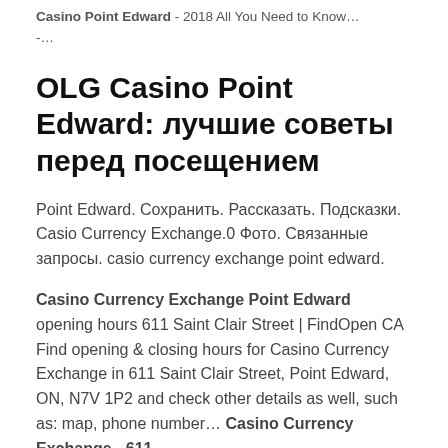Casino Point Edward - 2018 All You Need to Know…
-…
OLG Casino Point Edward: лучшие советы перед посещением
Point Edward. Сохранить. Рассказать. Подсказки. Casio Currency Exchange.0 Фото. Связанные запросы. casio currency exchange point edward.
Casino Currency Exchange Point Edward opening hours 611 Saint Clair Street | FindOpen CA Find opening & closing hours for Casino Currency Exchange in 611 Saint Clair Street, Point Edward, ON, N7V 1P2 and check other details as well, such as: map, phone number… Casino Currency Exchange - 611